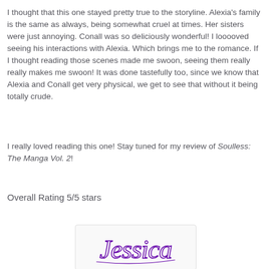I thought that this one stayed pretty true to the storyline. Alexia's family is the same as always, being somewhat cruel at times. Her sisters were just annoying. Conall was so deliciously wonderful! I looooved seeing his interactions with Alexia. Which brings me to the romance. If I thought reading those scenes made me swoon, seeing them really really makes me swoon! It was done tastefully too, since we know that Alexia and Conall get very physical, we get to see that without it being totally crude.
I really loved reading this one! Stay tuned for my review of Soulless: The Manga Vol. 2!
Overall Rating 5/5 stars
[Figure (illustration): Handwritten cursive signature reading 'Jessica' in purple ink on a light background with rounded border]